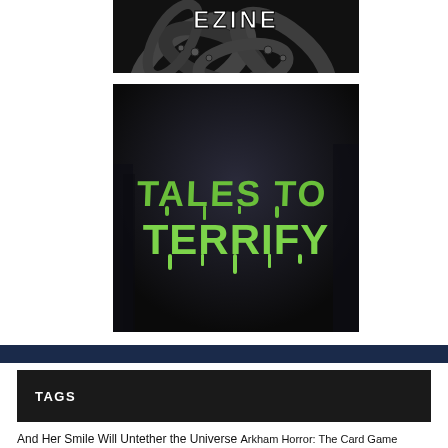[Figure (photo): Black and white image of octopus tentacles with 'EZINE' text overlay in grunge style font]
[Figure (illustration): Dark background image with green horror-style text reading 'Tales To Terrify']
TAGS
And Her Smile Will Untether the Universe Arkham Horror: The Card Game